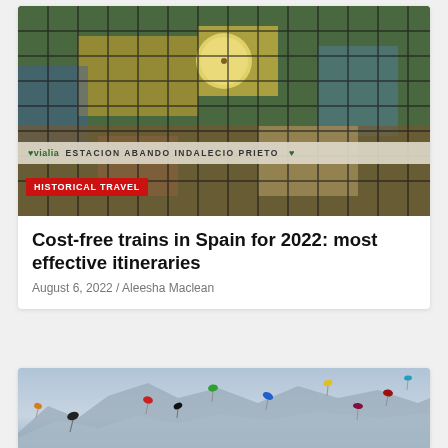[Figure (photo): Stained glass facade of Estacion Abando Indalecio Prieto train station in Bilbao, Spain, showing colorful stained glass mural with figures, a clock, and Basque coat of arms. The Vialia branding and station name are visible on the building facade.]
HISTORICAL TRAVEL
Cost-free trains in Spain for 2022: most effective itineraries
August 6, 2022 / Aleesha Maclean
[Figure (photo): Colorful kites flying in a blue-grey sky with snow-capped mountain silhouettes in the background.]